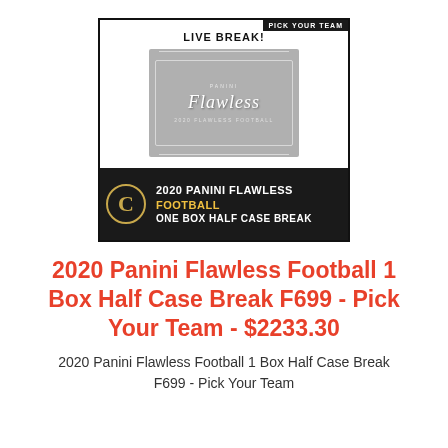[Figure (photo): Product image showing a 2020 Panini Flawless Football card box with 'LIVE BREAK!' text at top, a gray trading card box image in center, and a black banner at bottom reading '2020 PANINI FLAWLESS FOOTBALL ONE BOX HALF CASE BREAK' with a gold C logo and 'PICK YOUR TEAM' label.]
2020 Panini Flawless Football 1 Box Half Case Break F699 - Pick Your Team - $2233.30
2020 Panini Flawless Football 1 Box Half Case Break F699 - Pick Your Team